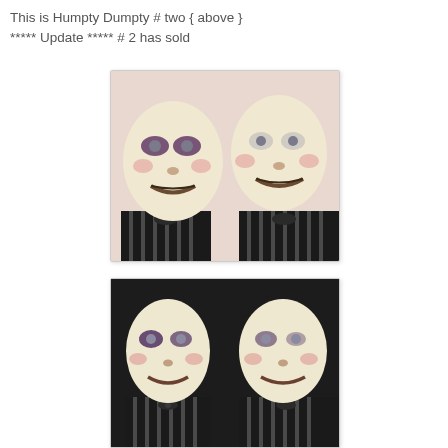This is Humpty Dumpty # two { above }
***** Update ***** # 2 has sold
[Figure (photo): Two Humpty Dumpty doll faces with pale egg-shaped heads, painted features including rosy cheeks and subtle smiles, one with dark bruised eyes, both wearing black striped outfits, photographed against a light pink background]
[Figure (photo): Two Humpty Dumpty doll figures with pale egg-shaped heads, painted features, one with dark bruised eyes, both wearing black and white striped outfits, photographed against a dark background]